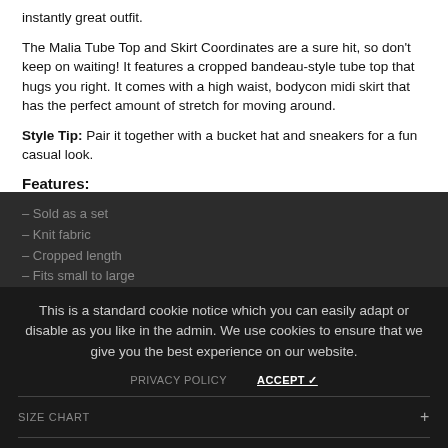instantly great outfit.
The Malia Tube Top and Skirt Coordinates are a sure hit, so don't keep on waiting! It features a cropped bandeau-style tube top that hugs you right. It comes with a high waist, bodycon midi skirt that has the perfect amount of stretch for moving around.
Style Tip: Pair it together with a bucket hat and sneakers for a fun casual look.
Features:
– Sold as a set
– Knit fabric
– Cropped length
– Fits small to large
This is a standard cookie notice which you can easily adapt or disable as you like in the admin. We use cookies to ensure that we give you the best experience on our website.
PRIVACY POLICY   ACCEPT ✓
SIZE CHART +
SHIPPING & RETURNS +